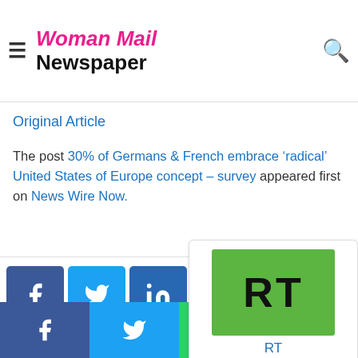Woman Mail Newspaper
Merkel handed third place behind the chairman of her Social Democrats and the EU, with 53 percent of Germans disapproving of her record.
Original Article
The post 30% of Germans & French embrace 'radical' United States of Europe concept – survey appeared first on News Wire Now.
[Figure (logo): RT logo - green background with RT text in black]
RT